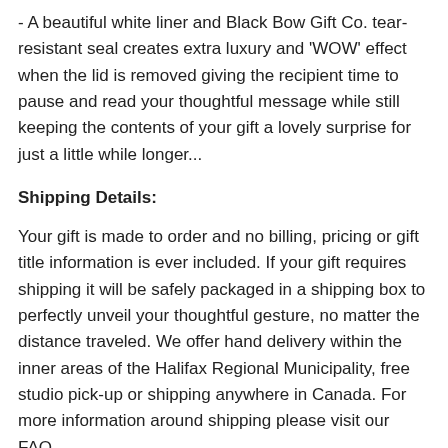- A beautiful white liner and Black Bow Gift Co. tear-resistant seal creates extra luxury and 'WOW' effect when the lid is removed giving the recipient time to pause and read your thoughtful message while still keeping the contents of your gift a lovely surprise for just a little while longer...
Shipping Details:
Your gift is made to order and no billing, pricing or gift title information is ever included. If your gift requires shipping it will be safely packaged in a shipping box to perfectly unveil your thoughtful gesture, no matter the distance traveled. We offer hand delivery within the inner areas of the Halifax Regional Municipality, free studio pick-up or shipping anywhere in Canada. For more information around shipping please visit our FAQ.
Looking to brand this gift or purchase a high quantity?